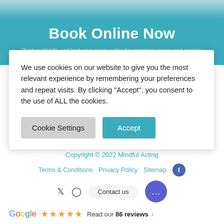Book Online Now
We use cookies on our website to give you the most relevant experience by remembering your preferences and repeat visits. By clicking "Accept", you consent to the use of ALL the cookies.
Cookie Settings | Accept
Copyright © 2022 Mindful Acting
Terms & Conditions   Privacy Policy   Sitemap
Contact us
Google   Read our 86 reviews >